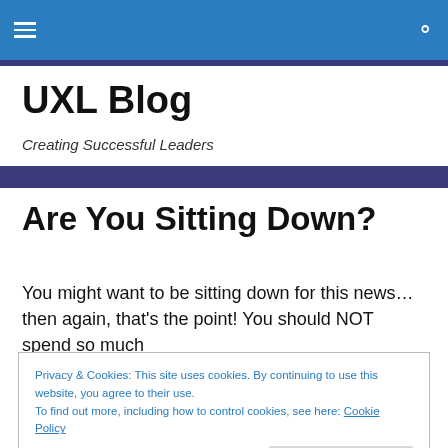UXL Blog — navigation bar with hamburger menu and search icon
UXL Blog
Creating Successful Leaders
Are You Sitting Down?
You might want to be sitting down for this news…then again, that's the point! You should NOT spend so much
Privacy & Cookies: This site uses cookies. By continuing to use this website, you agree to their use.
To find out more, including how to control cookies, see here: Cookie Policy
heart disease, type 2 diabetes, back pain, and